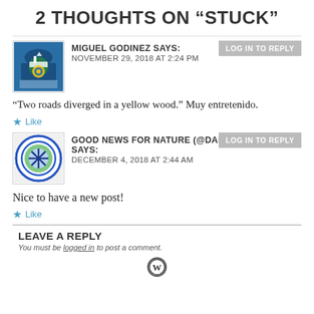2 THOUGHTS ON “STUCK”
MIGUEL GODINEZ SAYS:
NOVEMBER 29, 2018 AT 2:24 PM
“Two roads diverged in a yellow wood.” Muy entretenido.
★ Like
GOOD NEWS FOR NATURE (@DANTEARCHANGELI) SAYS:
DECEMBER 4, 2018 AT 2:44 AM
Nice to have a new post!
★ Like
LEAVE A REPLY
You must be logged in to post a comment.
[Figure (logo): WordPress logo icon at bottom center]